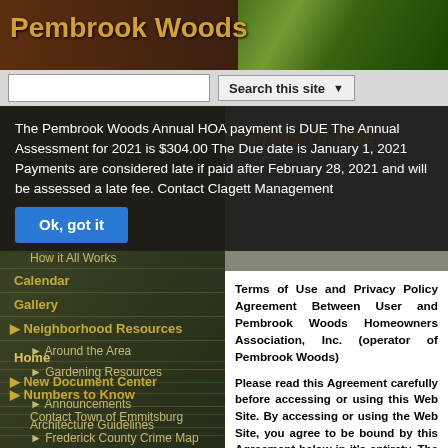Pembrook Woods
The Pembrook Woods Annual HOA payment is DUE The Annual Assessment for 2021 is $304.00 The Due date is January 1, 2021 Payments are considered late if paid after February 28, 2021 and will be assessed a late fee. Contact Clagett Management
Ok, got it
Terms of Use
Home
New Document Center
Announcements
Architecture Guidelines
How it All Works
Calendar
Gallery
Neighborhood Resources
Around the Area
Gardening Resources
Numbers to Know
Contact Town of Emmitsburg
Frederick County Crime Map
Channel 99 Announcements
Contact Us
Terms of Use and Privacy Policy Agreement Between User and Pembrook Woods Homeowners Association, Inc. (operator of Pembrook Woods)
Please read this Agreement carefully before accessing or using this Web Site. By accessing or using the Web Site, you agree to be bound by this Agreement below in it's entirety. The name of the corporation is PEMBROOK WOODS HOMEOWNERS ASSOCIATION, INC., hereinafter referred to as the "Pembrook Woods." If you do not accept